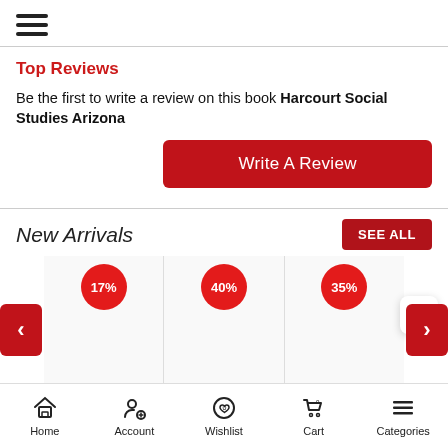☰ (hamburger menu)
Top Reviews
Be the first to write a review on this book Harcourt Social Studies Arizona
Write A Review
New Arrivals
SEE ALL
[Figure (screenshot): Product carousel showing 3 items with discount badges: 17%, 40%, 35%. Left and right navigation arrows visible.]
Home  Account  Wishlist  Cart  Categories